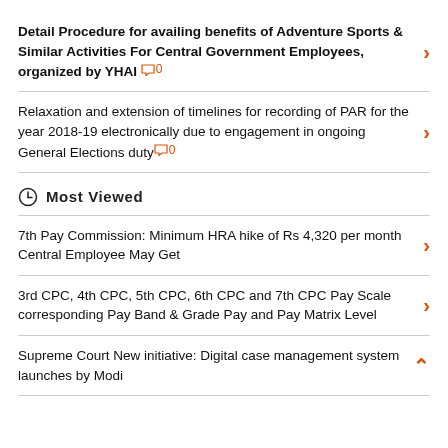Detail Procedure for availing benefits of Adventure Sports & Similar Activities For Central Government Employees, organized by YHAI 0
Relaxation and extension of timelines for recording of PAR for the year 2018-19 electronically due to engagement in ongoing General Elections duty 0
Most Viewed
7th Pay Commission: Minimum HRA hike of Rs 4,320 per month Central Employee May Get
3rd CPC, 4th CPC, 5th CPC, 6th CPC and 7th CPC Pay Scale corresponding Pay Band & Grade Pay and Pay Matrix Level
Supreme Court New initiative: Digital case management system launches by Modi